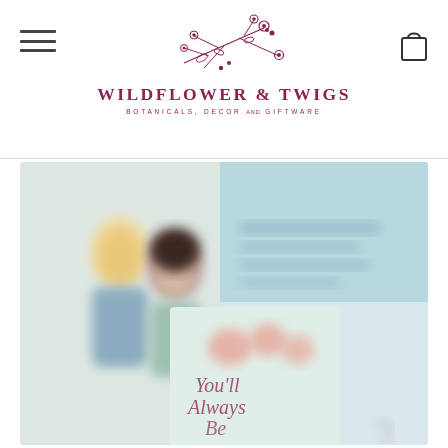[Figure (logo): Wildflower & Twigs logo with botanical illustration of flowers and twigs above the text]
[Figure (photo): Blurred greeting cards product image showing two illustrated girls and cards reading 'You'll Always Be...' with floral motifs on light blue background]